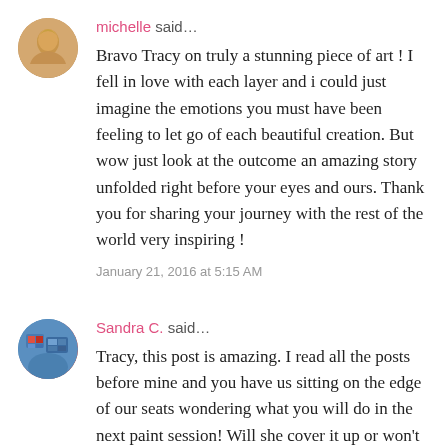[Figure (photo): Circular avatar photo of a blonde woman named michelle]
michelle said…

Bravo Tracy on truly a stunning piece of art ! I fell in love with each layer and i could just imagine the emotions you must have been feeling to let go of each beautiful creation. But wow just look at the outcome an amazing story unfolded right before your eyes and ours. Thank you for sharing your journey with the rest of the world very inspiring !
January 21, 2016 at 5:15 AM
[Figure (photo): Circular avatar photo of Sandra C. showing colorful artwork]
Sandra C. said…

Tracy, this post is amazing. I read all the posts before mine and you have us sitting on the edge of our seats wondering what you will do in the next paint session! Will she cover it up or won't she? But we know your courage and we hope for our own sakes that you save our favorite parts! You should